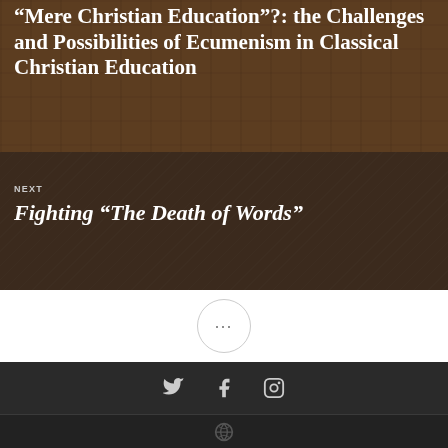[Figure (photo): Background photo of classroom chairs arranged in rows, with warm brown tones. Title text overlay: “Mere Christian Education”?: the Challenges and Possibilities of Ecumenism in Classical Christian Education]
“Mere Christian Education”?: the Challenges and Possibilities of Ecumenism in Classical Christian Education
[Figure (photo): Background photo of an open book with pages spread, dark tones. Contains navigation label NEXT and title: Fighting “The Death of Words”]
NEXT
Fighting “The Death of Words”
[Figure (other): Circle button with three dots (…) indicating more options]
Social media icons: Twitter, Facebook, Instagram
WordPress logo icon